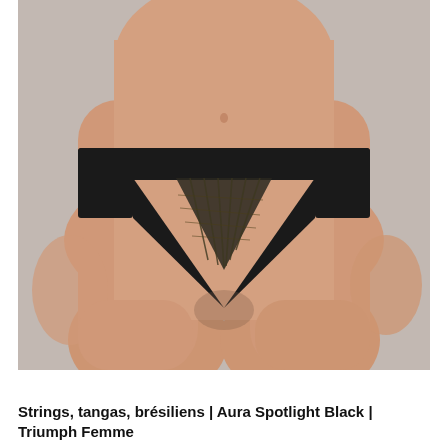[Figure (photo): Product photo of a woman wearing black Brazilian-style underwear (Triumph Aura Spotlight Black). The image is cropped from the waist to mid-thigh, showing the front of the garment against a light gray background. The underwear is black with a lace triangular panel at the center front.]
Strings, tangas, brésiliens | Aura Spotlight Black | Triumph Femme